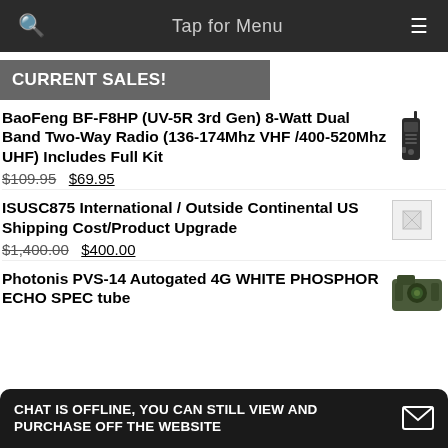Tap for Menu
CURRENT SALES!
BaoFeng BF-F8HP (UV-5R 3rd Gen) 8-Watt Dual Band Two-Way Radio (136-174Mhz VHF /400-520Mhz UHF) Includes Full Kit $109.95 $69.95
ISUSC875 International / Outside Continental US Shipping Cost/Product Upgrade $1,400.00 $400.00
Photonis PVS-14 Autogated 4G WHITE PHOSPHOR ECHO SPEC tube
CHAT IS OFFLINE, YOU CAN STILL VIEW AND PURCHASE OFF THE WEBSITE